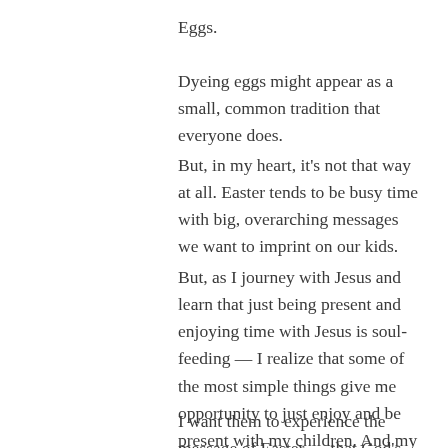Eggs.
Dyeing eggs might appear as a small, common tradition that everyone does.
But, in my heart, it's not that way at all.  Easter tends to be busy time with big, overarching messages we want to imprint on our kids.
But, as I journey with Jesus and learn that just being present and enjoying time with Jesus is soul-feeding — I realize that some of the most simple things give me opportunity to just enjoy and be present with my children.  And my husband.
I want them to experience the message of Easter — that God's love is real and it feeds our soul — by the way we spend our time together.